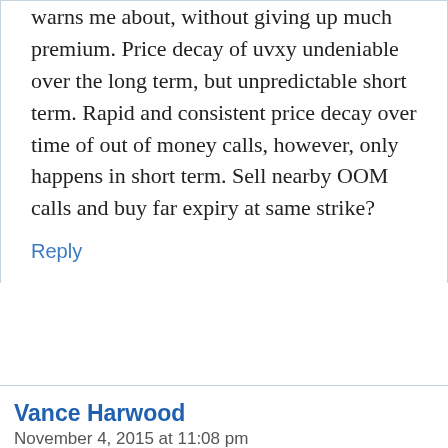warns me about, without giving up much premium. Price decay of uvxy undeniable over the long term, but unpredictable short term. Rapid and consistent price decay over time of out of money calls, however, only happens in short term. Sell nearby OOM calls and buy far expiry at same strike?
Reply
Vance Harwood
November 4, 2015 at 11:08 pm
Hi Phil, Tough problem. No free money here. I think further out of the money long calls for the same series is probably